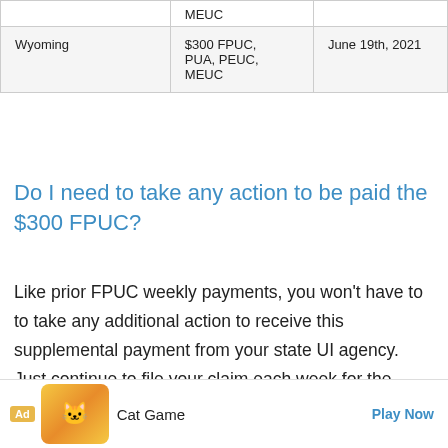| State | Benefits Ended | Date |
| --- | --- | --- |
| Wyoming | $300 FPUC, PUA, PEUC, MEUC | June 19th, 2021 |
Do I need to take any action to be paid the $300 FPUC?
Like prior FPUC weekly payments, you won't have to to take any additional action to receive this supplemental payment from your state UI agency. Just continue to file your claim each week for the unemployment benefit you are currently receiving and the supplementary payment will be added to that (including retroactive back payments...